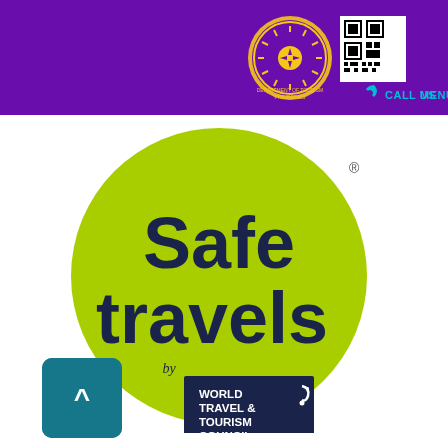[Figure (screenshot): Purple header bar with Department of Tourism Philippines seal/logo, QR code, phone icon, CALL US and MENU navigation links in teal]
[Figure (logo): Safe Travels by World Travel & Tourism Council logo — green circle with dark navy text 'Safe travels' and WTTC logo box, registered trademark symbol]
[Figure (other): Teal back-to-top button with caret (^) symbol in bottom left]